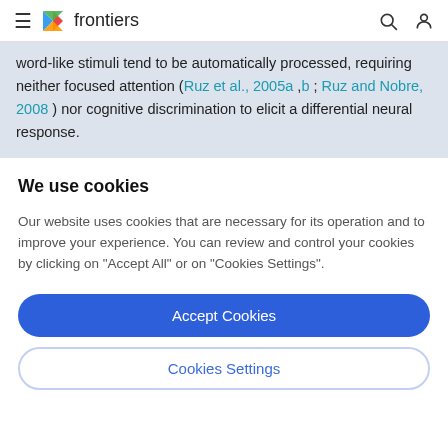frontiers
word-like stimuli tend to be automatically processed, requiring neither focused attention (Ruz et al., 2005a ,b ; Ruz and Nobre, 2008 ) nor cognitive discrimination to elicit a differential neural response.
We use cookies
Our website uses cookies that are necessary for its operation and to improve your experience. You can review and control your cookies by clicking on "Accept All" or on "Cookies Settings".
Accept Cookies
Cookies Settings